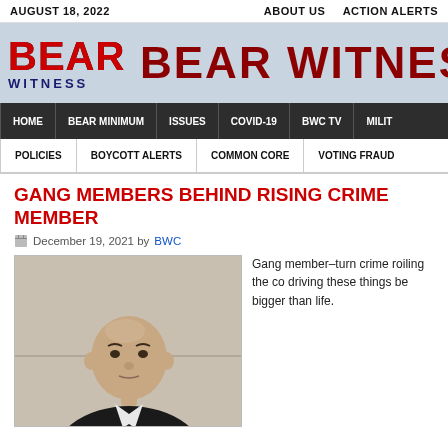AUGUST 18, 2022    ABOUT US    ACTION ALERTS
[Figure (logo): Bear Witness Central logo with American flag styled lettering and site banner]
HOME  BEAR MINIMUM  ISSUES  COVID-19  BWC TV  MILIT
POLICIES  BOYCOTT ALERTS  COMMON CORE  VOTING FRAUD
GANG MEMBERS BEHIND RISING CRIME MEMBER
December 19, 2021 by BWC
[Figure (photo): Mug shot or booking photo of a bald Hispanic man in a dark jacket against a beige wall]
Gang member–turn crime roiling the co driving these things be bigger than life.